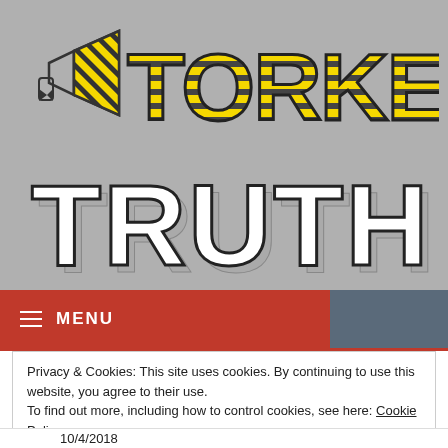[Figure (logo): Torked Truth logo with yellow and black striped letters 'TORKED' on top row and bold white 3D block letters 'TRUTH' on bottom row, with a megaphone icon to the left of TORKED]
≡ MENU
Privacy & Cookies: This site uses cookies. By continuing to use this website, you agree to their use.
To find out more, including how to control cookies, see here: Cookie Policy
Close and accept
10/4/2018